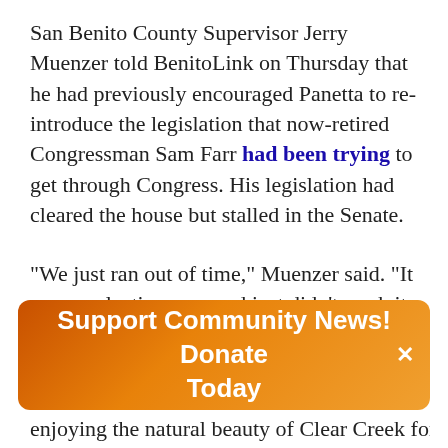San Benito County Supervisor Jerry Muenzer told BenitoLink on Thursday that he had previously encouraged Panetta to re-introduce the legislation that now-retired Congressman Sam Farr had been trying to get through Congress. His legislation had cleared the house but stalled in the Senate.
"We just ran out of time," Muenzer said. "It was an election year and just didn't work its way through the Senate. I'm hopeful that this time
[Figure (other): Orange gradient banner/advertisement reading 'Support Community News! Donate Today' with a close (×) button on the right.]
enjoying the natural beauty of Clear Creek for